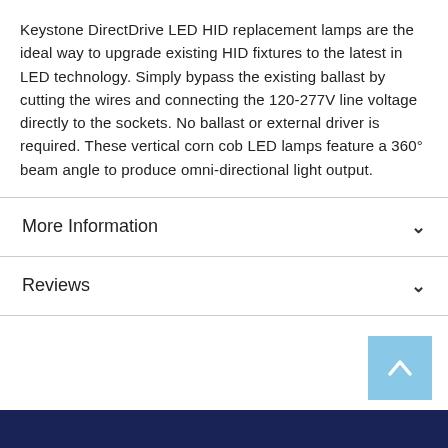Keystone DirectDrive LED HID replacement lamps are the ideal way to upgrade existing HID fixtures to the latest in LED technology. Simply bypass the existing ballast by cutting the wires and connecting the 120-277V line voltage directly to the sockets. No ballast or external driver is required. These vertical corn cob LED lamps feature a 360° beam angle to produce omni-directional light output.
More Information
Reviews
[Figure (other): Light blue back-to-top button with upward chevron arrow]